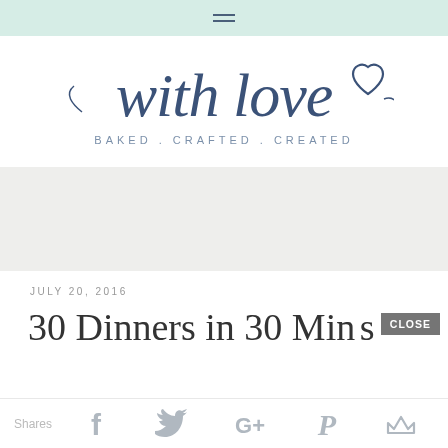≡ (hamburger menu icon)
[Figure (logo): Blog logo reading 'with love' in script font with a heart, and 'BAKED . CRAFTED . CREATED' in small caps below]
[Figure (other): Gray advertisement banner area]
JULY 20, 2016
30 Dinners in 30 Minutes
CLOSE
Shares  [Facebook] [Twitter] [Google+] [Pinterest] [Crown/email]